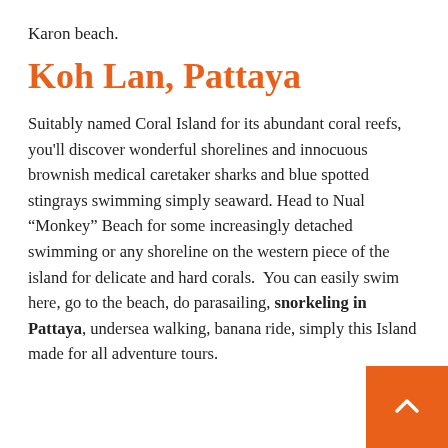Karon beach.
Koh Lan, Pattaya
Suitably named Coral Island for its abundant coral reefs, you'll discover wonderful shorelines and innocuous brownish medical caretaker sharks and blue spotted stingrays swimming simply seaward. Head to Nual “Monkey” Beach for some increasingly detached swimming or any shoreline on the western piece of the island for delicate and hard corals. You can easily swim here, go to the beach, do parasailing, snorkeling in Pattaya, undersea walking, banana ride, simply this Island made for all adventure tours.